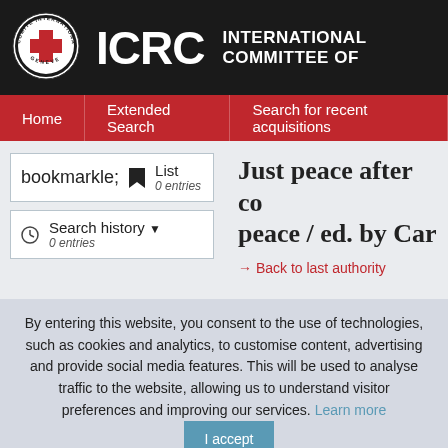[Figure (logo): ICRC logo: circular emblem with red cross, text COMITE INTERNATIONAL GENEVE around border, white on dark background]
ICRC INTERNATIONAL COMMITTEE OF
Home
Extended Search
Search for recent acquisitions
Just peace after co peace / ed. by Car
→ Back to last authority
List
o entries
Search history
o entries
By entering this website, you consent to the use of technologies, such as cookies and analytics, to customise content, advertising and provide social media features. This will be used to analyse traffic to the website, allowing us to understand visitor preferences and improving our services. Learn more  I accept